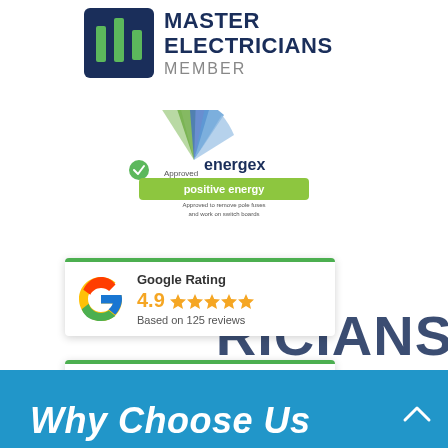[Figure (logo): Master Electricians Member logo with dark blue bar chart icon and text MASTER ELECTRICIANS MEMBER]
[Figure (logo): Energex Approved positive energy logo — fan-shaped logo with green approved badge. Text: Approved to remove pole fuses and work on switch boards]
[Figure (infographic): Google Rating card: 4.9 stars, Based on 125 reviews]
[Figure (infographic): Facebook Rating card: 5.0 stars, Based on 46 reviews]
Why Choose Us